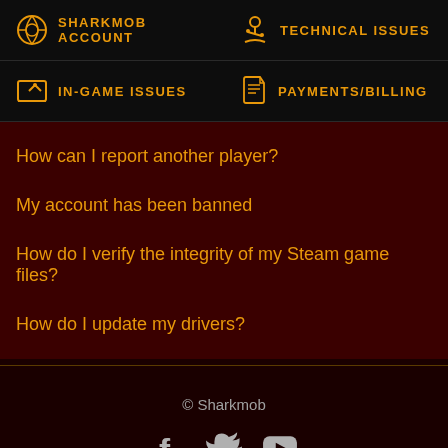SHARKMOB ACCOUNT
TECHNICAL ISSUES
IN-GAME ISSUES
PAYMENTS/BILLING
How can I report another player?
My account has been banned
How do I verify the integrity of my Steam game files?
How do I update my drivers?
© Sharkmob